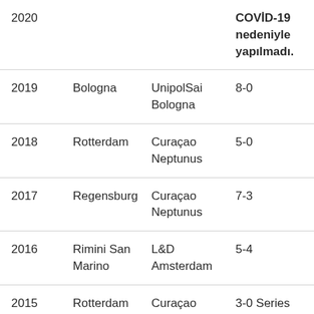| Year | City | Team | Score |
| --- | --- | --- | --- |
| 2020 |  |  | COVİD-19 nedeniyle yapılmadı. |
| 2019 | Bologna | UnipolSai Bologna | 8-0 |
| 2018 | Rotterdam | Curaçao Neptunus | 5-0 |
| 2017 | Regensburg | Curaçao Neptunus | 7-3 |
| 2016 | Rimini San Marino | L&D Amsterdam | 5-4 |
| 2015 | Rotterdam Paris | Curaçao Neptunus | 3-0 Series (5-3, 3-2, 7- |